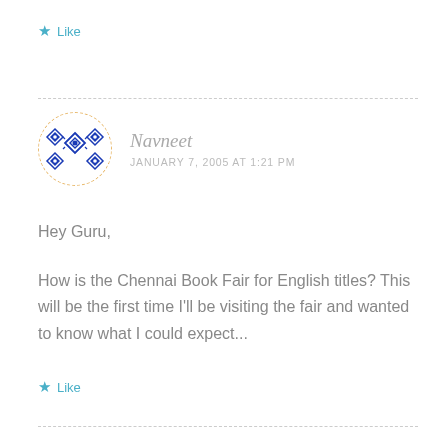★ Like
[Figure (illustration): Circular avatar with blue geometric diamond/rhombus pattern on white background, dashed orange border]
Navneet
JANUARY 7, 2005 AT 1:21 PM
Hey Guru,
How is the Chennai Book Fair for English titles? This will be the first time I'll be visiting the fair and wanted to know what I could expect...
★ Like